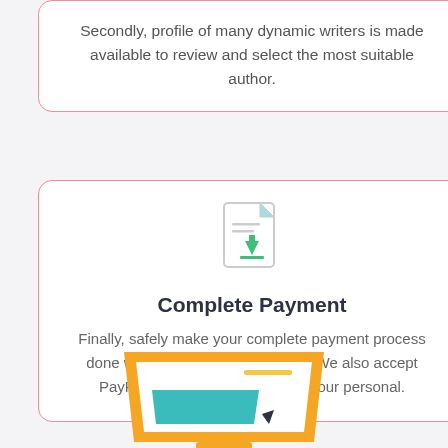Secondly, profile of many dynamic writers is made available to review and select the most suitable author.
[Figure (illustration): Document with a downward arrow icon representing download or payment completion]
Complete Payment
Finally, safely make your complete payment process done with any debit or credit card. We also accept PayPal and never try to access your personal.
[Figure (illustration): Illustration of a laptop/computer screen with a teal rectangle and cursor, and a peach/salmon colored rectangle below, with a hand pointing]